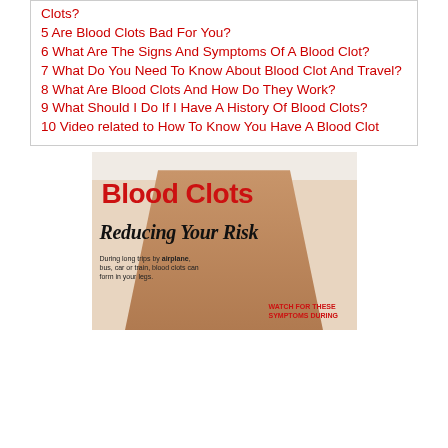Clots?
5 Are Blood Clots Bad For You?
6 What Are The Signs And Symptoms Of A Blood Clot?
7 What Do You Need To Know About Blood Clot And Travel?
8 What Are Blood Clots And How Do They Work?
9 What Should I Do If I Have A History Of Blood Clots?
10 Video related to How To Know You Have A Blood Clot
[Figure (illustration): Health infographic showing two legs with text 'Blood Clots Reducing Your Risk'. Includes small text about blood clots forming during long trips by airplane, bus, car or train. Red text at bottom right says 'WATCH FOR THESE SYMPTOMS during'.]